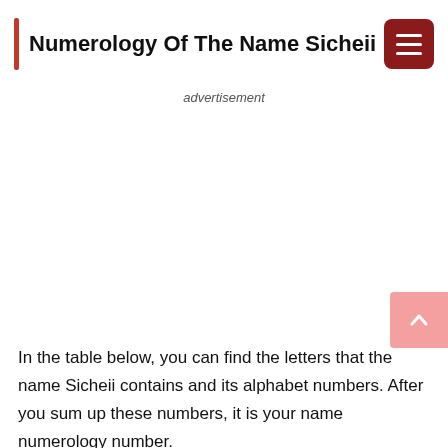Numerology Of The Name Sicheii
advertisement
In the table below, you can find the letters that the name Sicheii contains and its alphabet numbers. After you sum up these numbers, it is your name numerology number.